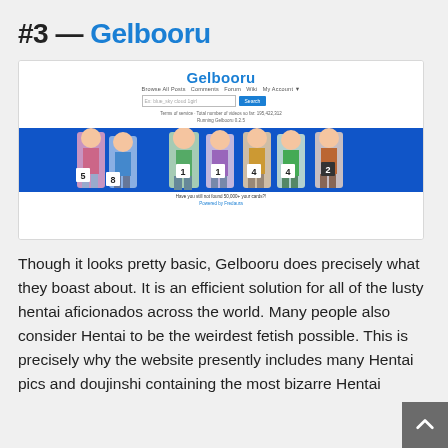#3 — Gelbooru
[Figure (screenshot): Screenshot of the Gelbooru website homepage showing the logo, navigation links, search bar, and an anime character banner with numbers 5, 8, 1, 1, 4, 4, 2]
Though it looks pretty basic, Gelbooru does precisely what they boast about. It is an efficient solution for all of the lusty hentai aficionados across the world. Many people also consider Hentai to be the weirdest fetish possible. This is precisely why the website presently includes many Hentai pics and doujinshi containing the most bizarre Hentai